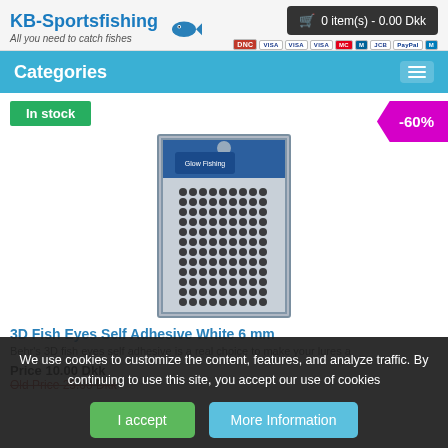[Figure (logo): KB-Sportsfishing logo with fish icon and tagline 'All you need to catch fishes']
🛒 0 item(s) - 0.00 Dkk
[Figure (infographic): Payment method icons: DNC, Visa, Visa, Visa, Mastercard, Maestro, JCB, PayPal, Maestro]
Categories
In stock
-60%
[Figure (photo): 3D Fish Eyes Self Adhesive White 6mm product - sheet of adhesive fish eyes stickers]
3D Fish Eyes Self Adhesive White 6 mm
Behr's 3D fish eyes self adhesive is a real choice to make your lures a
Price 10.00 Dkk
Old Price 25.00 Dkk
We use cookies to customize the content, features, and analyze traffic. By continuing to use this site, you accept our use of cookies
I accept
More Information